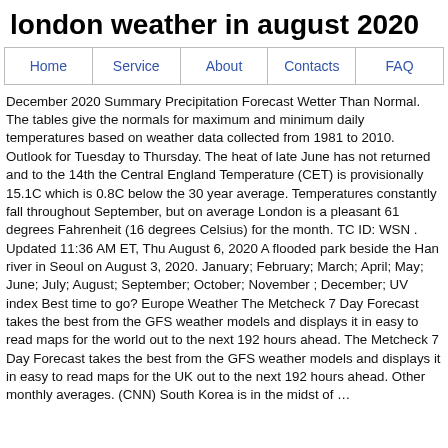london weather in august 2020
Home | Service | About | Contacts | FAQ
December 2020 Summary Precipitation Forecast Wetter Than Normal. The tables give the normals for maximum and minimum daily temperatures based on weather data collected from 1981 to 2010. Outlook for Tuesday to Thursday. The heat of late June has not returned and to the 14th the Central England Temperature (CET) is provisionally 15.1C which is 0.8C below the 30 year average. Temperatures constantly fall throughout September, but on average London is a pleasant 61 degrees Fahrenheit (16 degrees Celsius) for the month. TC ID: WSN . Updated 11:36 AM ET, Thu August 6, 2020 A flooded park beside the Han river in Seoul on August 3, 2020. January; February; March; April; May; June; July; August; September; October; November ; December; UV index Best time to go? Europe Weather The Metcheck 7 Day Forecast takes the best from the GFS weather models and displays it in easy to read maps for the world out to the next 192 hours ahead. The Metcheck 7 Day Forecast takes the best from the GFS weather models and displays it in easy to read maps for the UK out to the next 192 hours ahead. Other monthly averages. (CNN) South Korea is in the midst of …